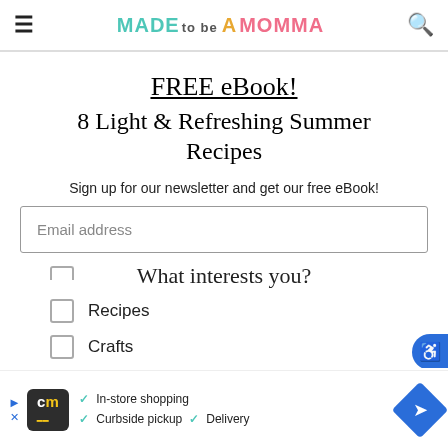MADE to be A MOMMA
FREE eBook!
8 Light & Refreshing Summer Recipes
Sign up for our newsletter and get our free eBook!
Email address
What interests you?
Recipes
Crafts
[Figure (screenshot): Advertisement banner: CM logo, In-store shopping checkmarks, Curbside pickup, Delivery, blue navigation arrow icon]